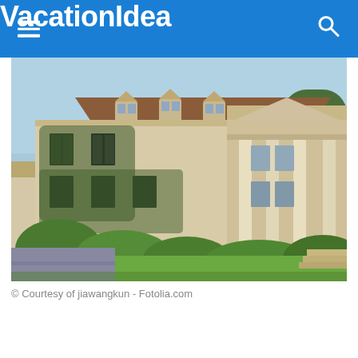VacationIdea
[Figure (photo): Large neoclassical mansion with stone facade, ivy-covered walls, tall white columns at the entrance, multiple dormer windows, and surrounding trees and shrubs on a sunny day.]
© Courtesy of jiawangkun - Fotolia.com